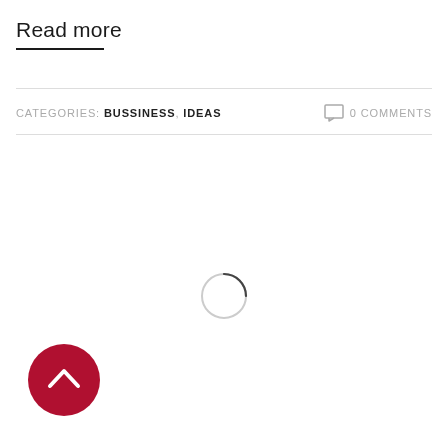Read more
CATEGORIES: BUSSINESS, IDEAS   □ 0 COMMENTS
[Figure (other): Loading spinner - a circular ring partially dark at the top, representing a loading animation]
[Figure (other): Back to top button - a circular dark red button with an upward chevron arrow icon]